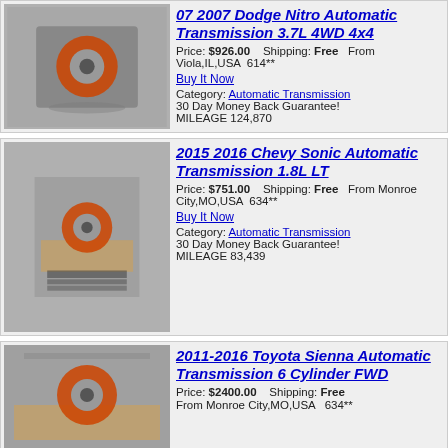[Figure (photo): Auto transmission part on concrete floor - 07 2007 Dodge Nitro item]
07 2007 Dodge Nitro Automatic Transmission 3.7L 4WD 4x4
Price: $926.00   Shipping: Free   From Viola,IL,USA  614**
Buy It Now
Category: Automatic Transmission
30 Day Money Back Guarantee!
MILEAGE 124,870
[Figure (photo): Auto transmission part on wooden pallet - 2015 2016 Chevy Sonic item]
2015 2016 Chevy Sonic Automatic Transmission 1.8L LT
Price: $751.00   Shipping: Free   From Monroe City,MO,USA  634**
Buy It Now
Category: Automatic Transmission
30 Day Money Back Guarantee!
MILEAGE 83,439
[Figure (photo): Auto transmission part on wooden pallet - 2011-2016 Toyota Sienna item]
2011-2016 Toyota Sienna Automatic Transmission 6 Cylinder FWD
Price: $2400.00   Shipping: Free
From Monroe City,MO,USA   634**